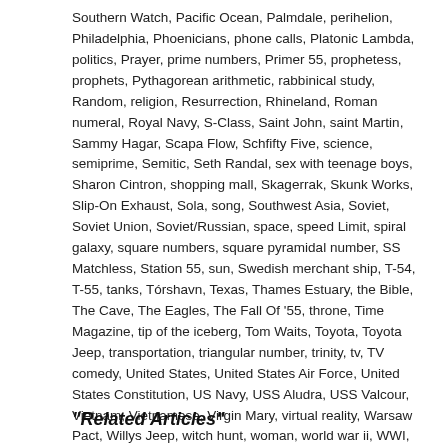Southern Watch, Pacific Ocean, Palmdale, perihelion, Philadelphia, Phoenicians, phone calls, Platonic Lambda, politics, Prayer, prime numbers, Primer 55, prophetess, prophets, Pythagorean arithmetic, rabbinical study, Random, religion, Resurrection, Rhineland, Roman numeral, Royal Navy, S-Class, Saint John, saint Martin, Sammy Hagar, Scapa Flow, Schfifty Five, science, semiprime, Semitic, Seth Randal, sex with teenage boys, Sharon Cintron, shopping mall, Skagerrak, Skunk Works, Slip-On Exhaust, Sola, song, Southwest Asia, Soviet, Soviet Union, Soviet/Russian, space, speed Limit, spiral galaxy, square numbers, square pyramidal number, SS Matchless, Station 55, sun, Swedish merchant ship, T-54, T-55, tanks, Tórshavn, Texas, Thames Estuary, the Bible, The Cave, The Eagles, The Fall Of '55, throne, Time Magazine, tip of the iceberg, Tom Waits, Toyota, Toyota Jeep, transportation, triangular number, trinity, tv, TV comedy, United States, United States Air Force, United States Constitution, US Navy, USS Aludra, USS Valcour, Vietnam, Vietnamese, Virgin Mary, virtual reality, Warsaw Pact, Willys Jeep, witch hunt, woman, world war ii, WWI, WWII, Yaw, Yoshimura R-55
"Related Articles"